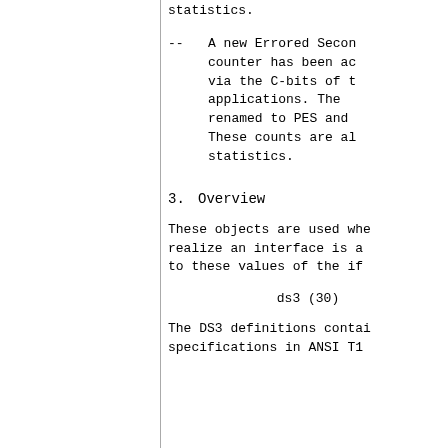statistics.
-- A new Errored Seconds counter has been added via the C-bits of the applications. The renamed to PES and These counts are all statistics.
3. Overview
These objects are used when realize an interface is a to these values of the if
ds3 (30)
The DS3 definitions contain specifications in ANSI T1